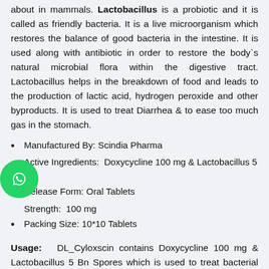about in mammals. Lactobacillus is a probiotic and it is called as friendly bacteria. It is a live microorganism which restores the balance of good bacteria in the intestine. It is used along with antibiotic in order to restore the body`s natural microbial flora within the digestive tract. Lactobacillus helps in the breakdown of food and leads to the production of lactic acid, hydrogen peroxide and other byproducts. It is used to treat Diarrhea & to ease too much gas in the stomach.
Manufactured By: Scindia Pharma
Active Ingredients:  Doxycycline 100 mg & Lactobacillus 5 Bn
Release Form: Oral Tablets
Strength:  100 mg
Packing Size: 10*10 Tablets
Usage:   DL_Cyloxscin contains Doxycycline 100 mg & Lactobacillus 5 Bn Spores which is used to treat bacterial infection. Combination of these two drugs stops bacterial